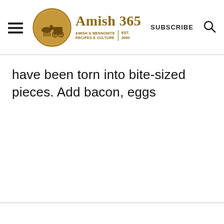Amish 365 — AMISH & MENNONITE RECIPES & CULTURE | EST. 2000 | SUBSCRIBE
have been torn into bite-sized pieces. Add bacon, eggs